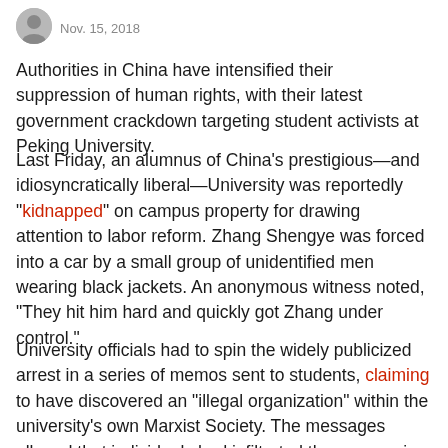Nov. 15, 2018
Authorities in China have intensified their suppression of human rights, with their latest government crackdown targeting student activists at Peking University.
Last Friday, an alumnus of China's prestigious—and idiosyncratically liberal—University was reportedly "kidnapped" on campus property for drawing attention to labor reform. Zhang Shengye was forced into a car by a small group of unidentified men wearing black jackets. An anonymous witness noted, "They hit him hard and quickly got Zhang under control."
University officials had to spin the widely publicized arrest in a series of memos sent to students, claiming to have discovered an "illegal organization" within the university's own Marxist Society. The messages alleged that individuals had infiltrated the campus in order to subvert the